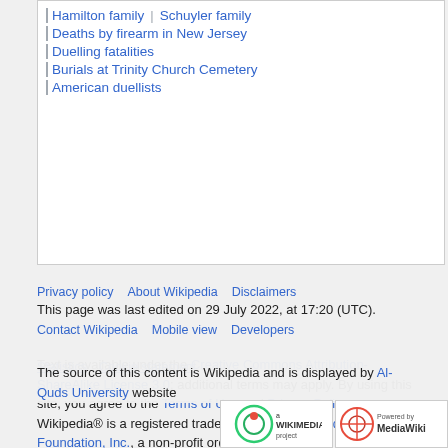Hamilton family | Schuyler family
Deaths by firearm in New Jersey
Duelling fatalities
Burials at Trinity Church Cemetery
American duellists
This page was last edited on 29 July 2022, at 17:20 (UTC).
Text is available under the Creative Commons Attribution-ShareAlike License 3.0; additional terms may apply. By using this site, you agree to the Terms of Use and Privacy Policy. Wikipedia® is a registered trademark of the Wikimedia Foundation, Inc., a non-profit organization.
Privacy policy   About Wikipedia   Disclaimers
Contact Wikipedia   Mobile view   Developers
Statistics   Cookie statement
The source of this content is Wikipedia and is displayed by Al-Quds University website